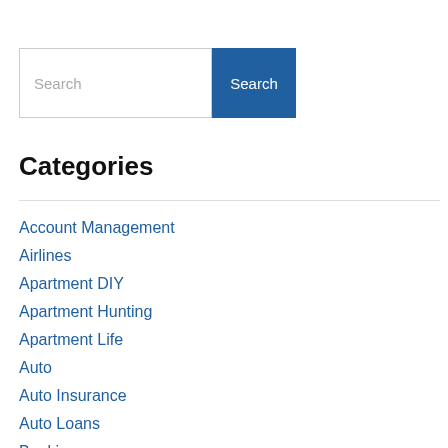[Figure (screenshot): Search input box with placeholder text 'Search' and a blue 'Search' button]
Categories
Account Management
Airlines
Apartment DIY
Apartment Hunting
Apartment Life
Auto
Auto Insurance
Auto Loans
Banking
Biohazard Cleanup Guide
Borrowing Money